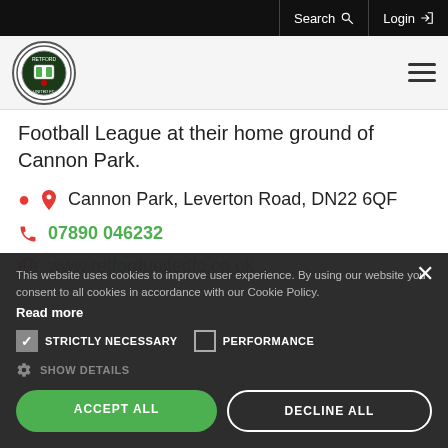Search  Login
[Figure (logo): Retford United FC circular club badge logo]
Football League at their home ground of Cannon Park.
Cannon Park, Leverton Road, DN22 6QF
07890 046232
www.retfordunitedfc.co.uk
This website uses cookies to improve user experience. By using our website you consent to all cookies in accordance with our Cookie Policy. Read more
STRICTLY NECESSARY  PERFORMANCE
SHOW DETAILS
ACCEPT ALL  DECLINE ALL